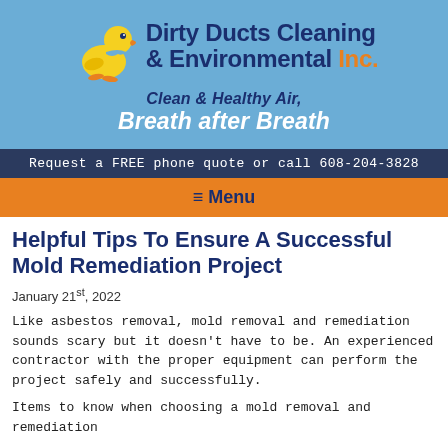[Figure (logo): Dirty Ducts Cleaning & Environmental Inc. logo with yellow cartoon duck mascot on blue background, company name in dark blue and orange, tagline 'Clean & Healthy Air, Breath after Breath']
Request a FREE phone quote or call 608-204-3828
≡ Menu
Helpful Tips To Ensure A Successful Mold Remediation Project
January 21st, 2022
Like asbestos removal, mold removal and remediation sounds scary but it doesn't have to be. An experienced contractor with the proper equipment can perform the project safely and successfully.
Items to know when choosing a mold removal and remediation